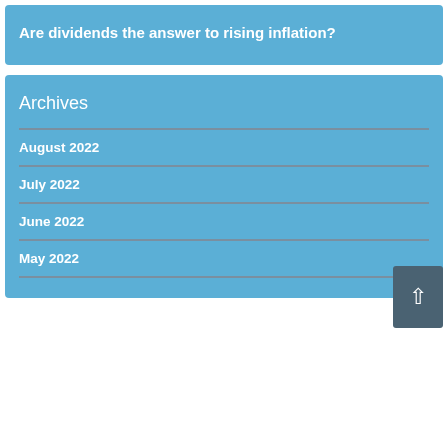Are dividends the answer to rising inflation?
Archives
August 2022
July 2022
June 2022
May 2022